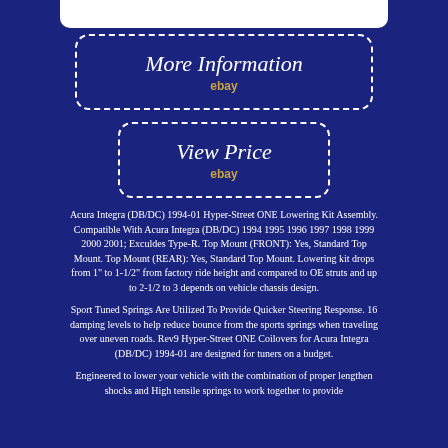[Figure (other): White rounded bar at the top of the page]
[Figure (other): Dashed white rounded rectangle button with 'More Information' in cursive and 'ebay' below in gold]
[Figure (other): Dashed white rounded rectangle button with 'View Price' in cursive and 'ebay' below in gold]
Acura Integra (DB/DC) 1994-01 Hyper-Street ONE Lowering Kit Assembly. Compatible With Acura Integra (DB/DC) 1994 1995 1996 1997 1998 1999 2000 2001; Exculdes Type-R. Top Mount (FRONT): Yes, Standard Top Mount. Top Mount (REAR): Yes, Standard Top Mount. Lowering kit drops from 1" to 1-1/2" from factory ride height and compared to OE struts and up to 2-1/2 to 3 depends on vehicle chassis design.
Sport Tuned Springs Are Utilized To Provide Quicker Steering Response. 16 damping levels to help reduce bounce from the sports springs when traveling over uneven roads. Rev9 Hyper-Street ONE Coilovers for Acura Integra (DB/DC) 1994-01 are designed for tuners on a budget.
Engineered to lower your vehicle with the combination of proper lengthen shocks and High tensile springs to work together to provide